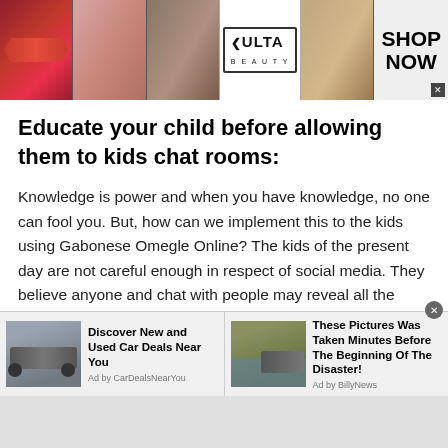[Figure (other): Ulta Beauty banner advertisement showing cosmetics images (lips, makeup brush, eye with eyeshadow, Ulta logo, eye with dramatic makeup) and SHOP NOW call to action]
Educate your child before allowing them to kids chat rooms:
Knowledge is power and when you have knowledge, no one can fool you. But, how can we implement this to the kids using Gabonese Omegle Online? The kids of the present day are not careful enough in respect of social media. They believe anyone and chat with people may reveal all the private information. They share each and everything with people to whom they are comfortable
[Figure (other): Bottom advertisement bar with two ad units: 'Discover New and Used Car Deals Near You' by CarDealsNearYou, and 'These Pictures Was Taken Minutes Before The Beginning Of The Disaster!' by BillyNews]